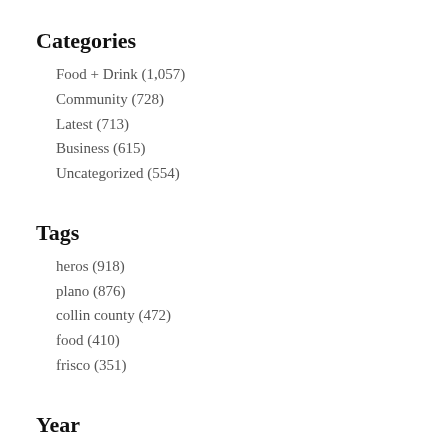Categories
Food + Drink (1,057)
Community (728)
Latest (713)
Business (615)
Uncategorized (554)
Tags
heros (918)
plano (876)
collin county (472)
food (410)
frisco (351)
Year
2022 (402)
2021 (672)
2020 (552)